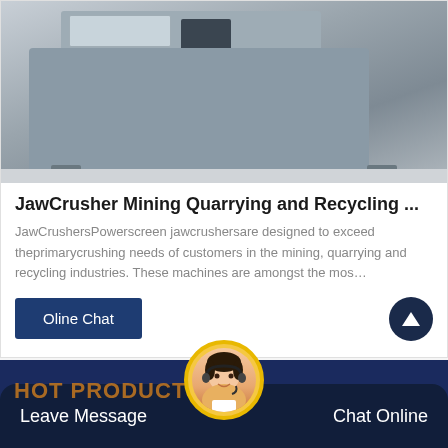[Figure (photo): Photo of a jaw crusher mining machine, grey industrial equipment on a concrete floor]
JawCrusher Mining Quarrying and Recycling ...
JawCrushersPowerscreen jawcrushersare designed to exceed theprimarycrushing needs of customers in the mining, quarrying and recycling industries. These machines are amongst the mos…
Oline Chat
HOT PRODUCTS   Leave Message   Chat Online